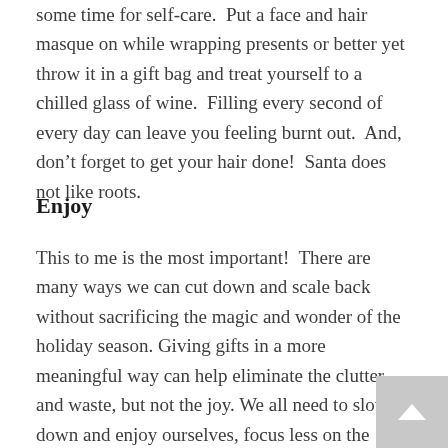some time for self-care.  Put a face and hair masque on while wrapping presents or better yet throw it in a gift bag and treat yourself to a chilled glass of wine.  Filling every second of every day can leave you feeling burnt out.  And, don’t forget to get your hair done!  Santa does not like roots.
Enjoy
This to me is the most important!  There are many ways we can cut down and scale back without sacrificing the magic and wonder of the holiday season. Giving gifts in a more meaningful way can help eliminate the clutter and waste, but not the joy. We all need to slow down and enjoy ourselves, focus less on the ‘stuff’ and more on the important things like time, health, and family & friends. We might even save Santa a few bucks in the process!